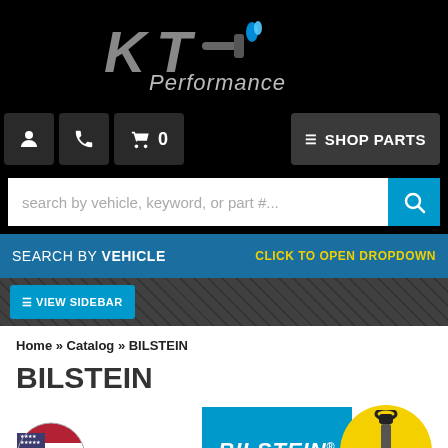[Figure (logo): KT Performance logo on black background]
[Figure (screenshot): Navigation bar with user, phone, cart icons and SHOP PARTS button]
[Figure (screenshot): Search bar with placeholder text and blue search button]
[Figure (screenshot): Blue banner: SEARCH BY VEHICLE with CLICK TO OPEN DROPDOWN]
[Figure (screenshot): Dark sidebar button bar with VIEW SIDEBAR button]
Home » Catalog » BILSTEIN
BILSTEIN
[Figure (logo): Bilstein brand logo: blue rectangle with BILSTEIN text and yellow circle with shock absorber icon]
[Figure (illustration): US flag half-dome icon]